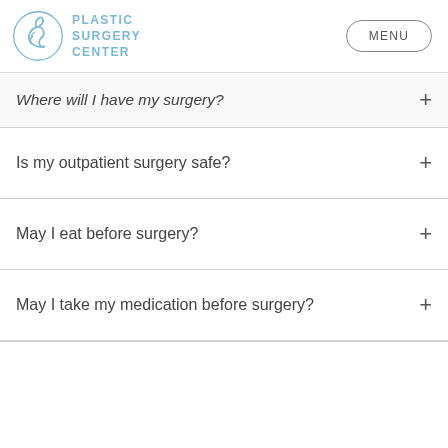PLASTIC SURGERY CENTER | MENU
Where will I have my surgery?
Is my outpatient surgery safe?
May I eat before surgery?
May I take my medication before surgery?